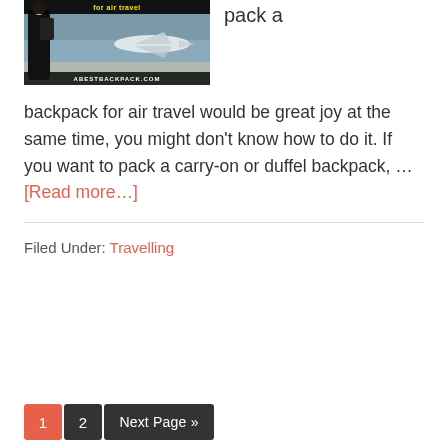[Figure (photo): Image of a person with a backpack at an airport with a plane in the background. Text overlay at top reads travel-related title, bottom overlay reads ABESTBACKPACK.COM. To the right, partial text 'pack a' is visible.]
backpack for air travel would be great joy at the same time, you might don't know how to do it. If you want to pack a carry-on or duffel backpack, … [Read more…]
Filed Under: Travelling
1  2  Next Page »